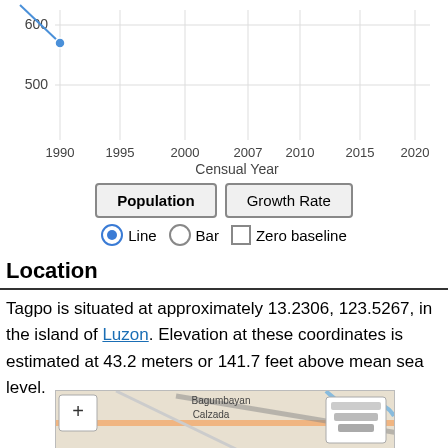[Figure (continuous-plot): Partial line chart showing population vs censual year. Y-axis shows values around 500-600+. X-axis shows years 1990, 1995, 2000, 2007, 2010, 2015, 2020. A blue line with dot marker visible near 1990. X-axis label: Censual Year.]
[Figure (infographic): UI controls: Population button (bold) and Growth Rate button side by side. Below: radio buttons for Line (selected) and Bar, plus a checkbox for Zero baseline.]
Location
Tagpo is situated at approximately 13.2306, 123.5267, in the island of Luzon. Elevation at these coordinates is estimated at 43.2 meters or 141.7 feet above mean sea level.
[Figure (map): Street map showing area around Tagpo with labels Bagumbayan, Calzada, Guilid visible. Map controls include + zoom button and layer icon.]